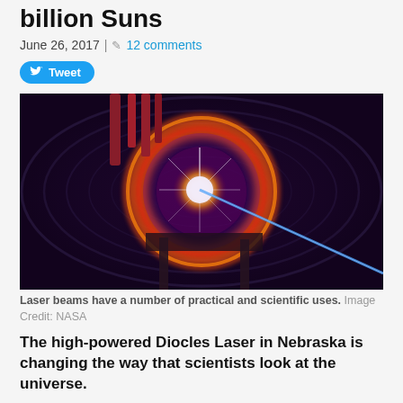billion Suns
June 26, 2017 | 12 comments
Tweet
[Figure (photo): Laser beam inside a cylindrical tunnel with a bright white burst of light in the center, glowing orange ring around the beam, blue laser streak extending diagonally. Image credit: NASA.]
Laser beams have a number of practical and scientific uses. Image Credit: NASA
The high-powered Diocles Laser in Nebraska is changing the way that scientists look at the universe.
One of the most powerful lasers ever created, the remarkable device is capable of delivering the light of a trillion light bulbs on to a single point for approximately